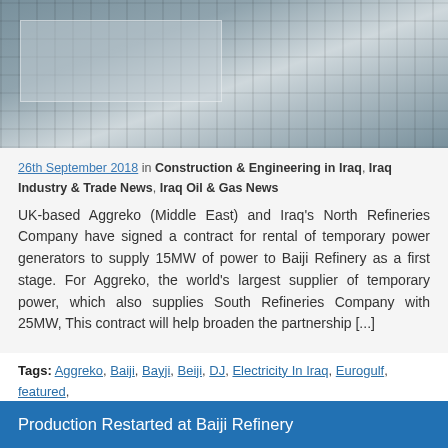[Figure (photo): Industrial machinery or equipment, appears to be a manufacturing or refinery facility with metal components]
26th September 2018 in Construction & Engineering in Iraq, Iraq Industry & Trade News, Iraq Oil & Gas News
UK-based Aggreko (Middle East) and Iraq's North Refineries Company have signed a contract for rental of temporary power generators to supply 15MW of power to Baiji Refinery as a first stage. For Aggreko, the world's largest supplier of temporary power, which also supplies South Refineries Company with 25MW, This contract will help broaden the partnership [...]
Tags: Aggreko, Baiji, Bayji, Beiji, DJ, Electricity In Iraq, Eurogulf, featured, North Refinery Company, South Refinery Company, United Kingdom, WW
Production Restarted at Baiji Refinery